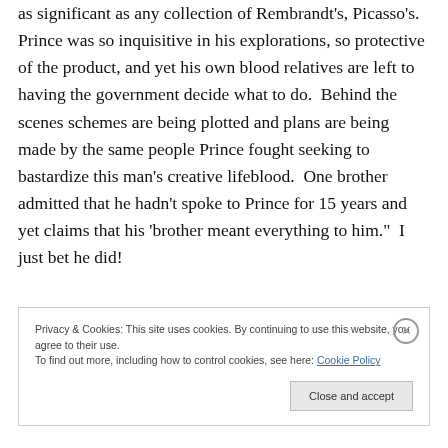as significant as any collection of Rembrandt's, Picasso's. Prince was so inquisitive in his explorations, so protective of the product, and yet his own blood relatives are left to having the government decide what to do. Behind the scenes schemes are being plotted and plans are being made by the same people Prince fought seeking to bastardize this man's creative lifeblood. One brother admitted that he hadn't spoke to Prince for 15 years and yet claims that his 'brother meant everything to him." I just bet he did!
Privacy & Cookies: This site uses cookies. By continuing to use this website, you agree to their use.
To find out more, including how to control cookies, see here: Cookie Policy